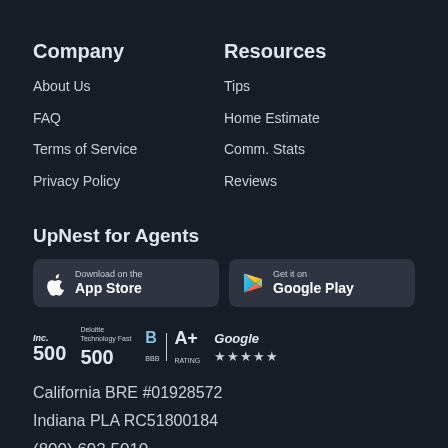Company
About Us
FAQ
Terms of Service
Privacy Policy
Resources
Tips
Home Estimate
Comm. Stats
Reviews
UpNest for Agents
[Figure (logo): Download on the App Store button]
[Figure (logo): Get it on Google Play button]
[Figure (logo): Inc. 500 badge]
[Figure (logo): Deloitte Technology Fast 500 badge]
[Figure (logo): BBB A+ Rating badge]
[Figure (logo): Google 5-star rating badge]
California BRE #01928572
Indiana PLA RC51800184
(800) 692 5010